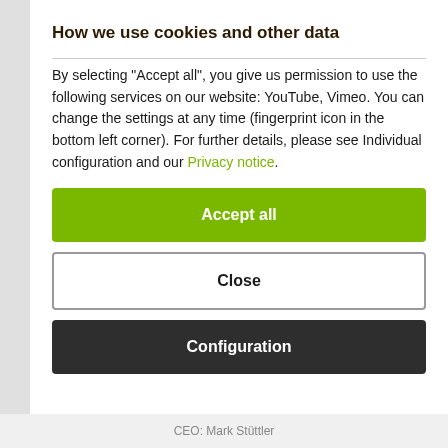How we use cookies and other data
By selecting "Accept all", you give us permission to use the following services on our website: YouTube, Vimeo. You can change the settings at any time (fingerprint icon in the bottom left corner). For further details, please see Individual configuration and our Privacy notice.
Accept all
Close
Configuration
CEO: Mark Stüttler